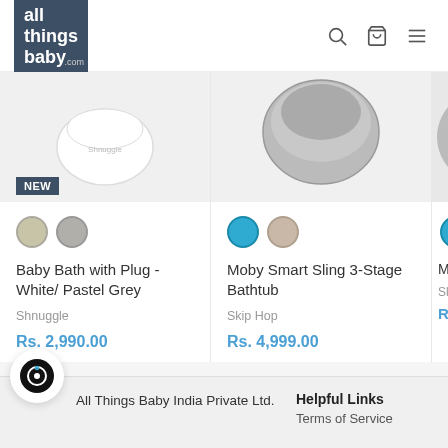all things baby .com
[Figure (screenshot): Product card: Baby Bath with Plug - White/ Pastel Grey by Shnuggle, Rs. 2,990.00, NEW badge, color swatches]
[Figure (screenshot): Product card: Moby Smart Sling 3-Stage Bathtub by Skip Hop, Rs. 4,999.00, color swatches]
[Figure (screenshot): Partial product card: Moby Bath [truncated] by Skip H[op], Rs. 1,[truncated]]
All Things Baby India Private Ltd.
Helpful Links
Terms of Service